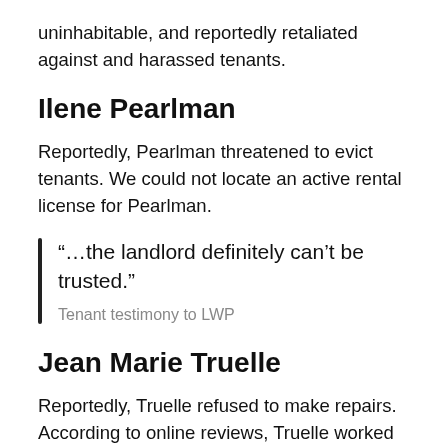uninhabitable, and reportedly retaliated against and harassed tenants.
Ilene Pearlman
Reportedly, Pearlman threatened to evict tenants. We could not locate an active rental license for Pearlman.
“…the landlord definitely can’t be trusted.”
Tenant testimony to LWP
Jean Marie Truelle
Reportedly, Truelle refused to make repairs. According to online reviews, Truelle worked for LYL